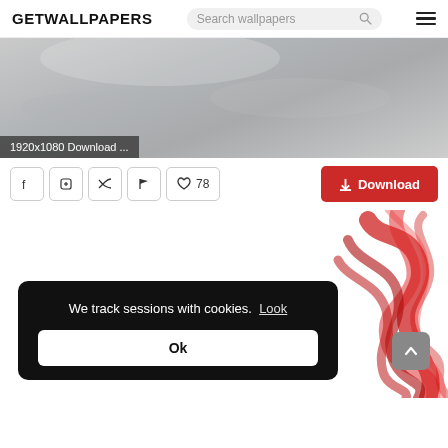GETWALLPAPERS
[Figure (screenshot): Gray gradient wallpaper preview image with smoke texture hints, showing resolution label '1920x1080 Download ...' in bottom-left corner]
1920x1080 Download ...
[Figure (infographic): Action bar with Facebook, Pinterest, Twitter, Flag icon buttons, a Likes counter showing heart and 78, and a red Download button]
78
Download
[Figure (illustration): Red smoke swirling on white background in bottom-right portion of page]
We track sessions with cookies.  Look
Ok